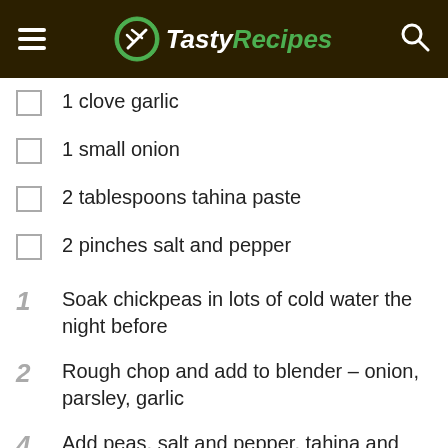TastyRecipes
1 clove garlic
1 small onion
2 tablespoons tahina paste
2 pinches salt and pepper
1  Soak chickpeas in lots of cold water the night before
2  Rough chop and add to blender – onion, parsley, garlic
4  Add peas, salt and pepper, tahina and pulse until all chopped up into little bits, add more tahini if the mixture seems dry